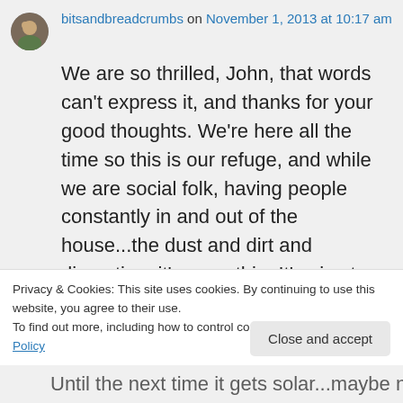bitsandbreadcrumbs on November 1, 2013 at 10:17 am
We are so thrilled, John, that words can't express it, and thanks for your good thoughts. We're here all the time so this is our refuge, and while we are social folk, having people constantly in and out of the house...the dust and dirt and disruption, it's worn thin. It's nice to just think about living again, you know? 🙂 I know you like this
Privacy & Cookies: This site uses cookies. By continuing to use this website, you agree to their use.
To find out more, including how to control cookies, see here: Cookie Policy
Close and accept
Until the next time it gets solar...maybe next